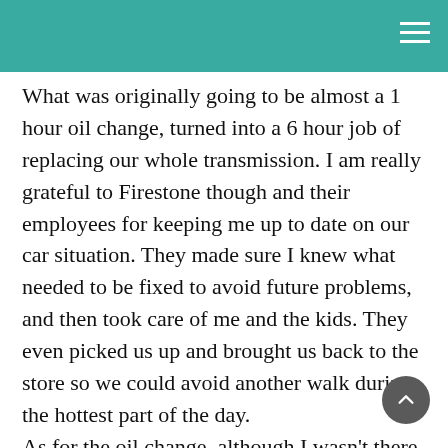What was originally going to be almost a 1 hour oil change, turned into a 6 hour job of replacing our whole transmission. I am really grateful to Firestone though and their employees for keeping me up to date on our car situation. They made sure I knew what needed to be fixed to avoid future problems, and then took care of me and the kids. They even picked us up and brought us back to the store so we could avoid another walk during the hottest part of the day.
As for the oil change, although I wasn't there during the process, they did tell me about their computer program that looks up the